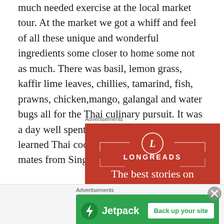much needed exercise at the local market tour. At the market we got a whiff and feel of all these unique and wonderful ingredients some closer to home some not as much. There was basil, lemon grass, kaffir lime leaves, chillies, tamarind, fish, prawns, chicken,mango, galangal and water bugs all for the Thai culinary pursuit. It was a day well spent and I can claim to have learned Thai cooking with lovely class mates from Singapore and Australia.
[Figure (other): Longreads advertisement banner with red background, circle logo with letter L, LONGREADS text, and tagline 'The best stories on']
[Figure (other): Jetpack advertisement banner with green background, lightning bolt logo, Jetpack text, and 'Back up your site' button]